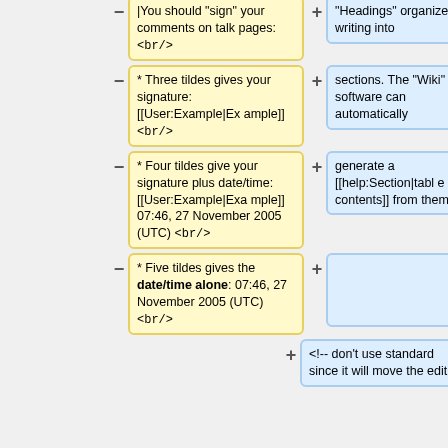|You should "sign" your comments on talk pages: <br/>
"Headings" organize your writing into
* Three tildes gives your signature: [[User:Example|Example]] <br/>
sections. The "Wiki" software can automatically
* Four tildes give your signature plus date/time: [[User:Example|Example]] 07:46, 27 November 2005 (UTC) <br/>
generate a [[help:Section|table of contents]] from them.
* Five tildes gives the date/time alone: 07:46, 27 November 2005 (UTC) <br/>
<!-- don't use standard since it will move the edit